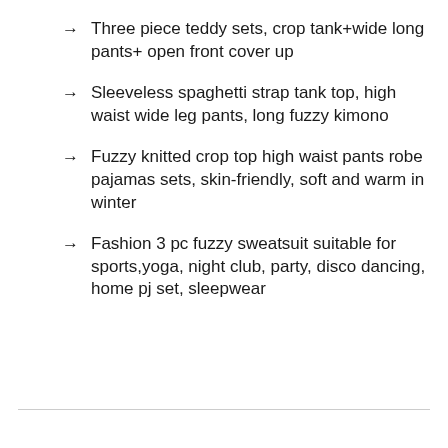Three piece teddy sets, crop tank+wide long pants+ open front cover up
Sleeveless spaghetti strap tank top, high waist wide leg pants, long fuzzy kimono
Fuzzy knitted crop top high waist pants robe pajamas sets, skin-friendly, soft and warm in winter
Fashion 3 pc fuzzy sweatsuit suitable for sports,yoga, night club, party, disco dancing, home pj set, sleepwear